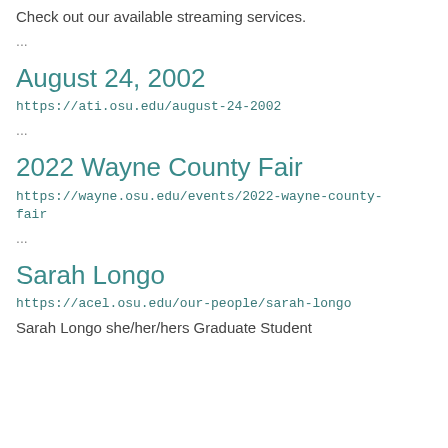Check out our available streaming services.
...
August 24, 2002
https://ati.osu.edu/august-24-2002
...
2022 Wayne County Fair
https://wayne.osu.edu/events/2022-wayne-county-fair
...
Sarah Longo
https://acel.osu.edu/our-people/sarah-longo
Sarah Longo she/her/hers Graduate Student